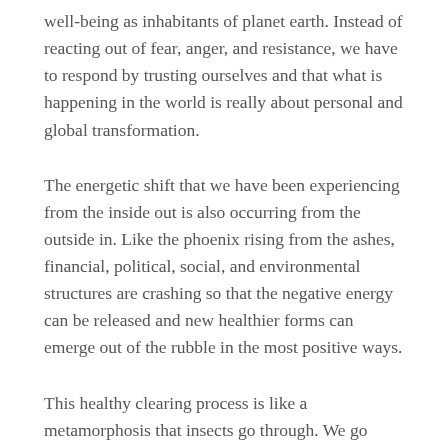well-being as inhabitants of planet earth. Instead of reacting out of fear, anger, and resistance, we have to respond by trusting ourselves and that what is happening in the world is really about personal and global transformation.
The energetic shift that we have been experiencing from the inside out is also occurring from the outside in. Like the phoenix rising from the ashes, financial, political, social, and environmental structures are crashing so that the negative energy can be released and new healthier forms can emerge out of the rubble in the most positive ways.
This healthy clearing process is like a metamorphosis that insects go through. We go through to personally transform ourselves. Instead of being bound by the chains of negative mind sets, beliefs and behavioral patterns, we have to allow the negativity to clear from